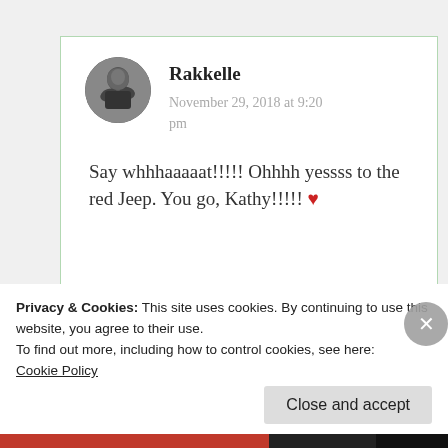[Figure (screenshot): A blog comment card with a circular avatar photo of Rakkelle, author name in bold, date November 29, 2018 at 9:20 pm, and comment text: Say whhhaaaaat!!!!! Ohhhh yessss to the red Jeep. You go, Kathy!!!!! with a red heart emoji.]
Privacy & Cookies: This site uses cookies. By continuing to use this website, you agree to their use.
To find out more, including how to control cookies, see here: Cookie Policy
Close and accept